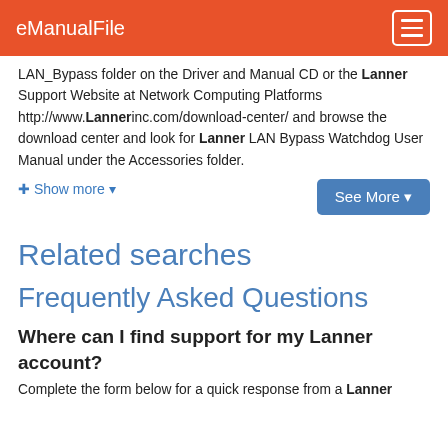eManualFile
LAN_Bypass folder on the Driver and Manual CD or the Lanner Support Website at Network Computing Platforms http://www.Lannerinc.com/download-center/ and browse the download center and look for Lanner LAN Bypass Watchdog User Manual under the Accessories folder.
+ Show more ▾
See More ▾
Related searches
Frequently Asked Questions
Where can I find support for my Lanner account?
Complete the form below for a quick response from a Lanner